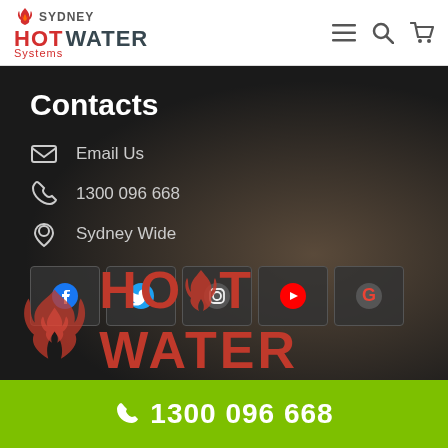[Figure (logo): Sydney Hot Water Systems logo with flame icon, top navigation with hamburger menu, search, and cart icons]
Contacts
Email Us
1300 096 668
Sydney Wide
[Figure (infographic): Social media icons: Facebook, Twitter, Instagram, YouTube, Google]
[Figure (logo): Sydney Hot Water watermark logo in lower dark section]
1300 096 668